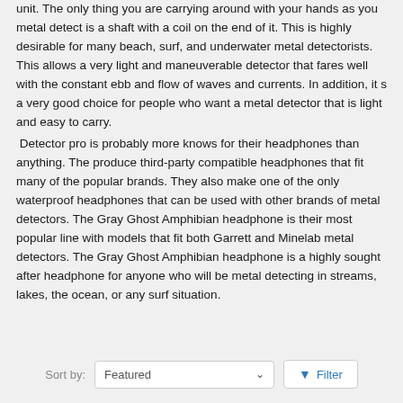unit.  The only thing you are carrying around with your hands as you metal detect is a shaft with a coil on the end of it.  This is highly desirable for many beach, surf, and underwater metal detectorists.  This allows a very light and maneuverable detector that fares well with the constant ebb and flow of waves and currents.  In addition, it s a very good choice for people who want a metal detector that is light and easy to carry.
 Detector pro is probably more knows for their headphones than anything.  The produce third-party compatible headphones that fit many of the popular brands.  They also make one of the only waterproof headphones that can be used with other brands of metal detectors.  The Gray Ghost Amphibian headphone is their most popular line with models that fit both Garrett and Minelab metal detectors.  The Gray Ghost Amphibian headphone is a highly sought after headphone for anyone who will be metal detecting in streams, lakes, the ocean, or any surf situation.
[Figure (screenshot): Sort by Featured dropdown and Filter button UI controls]